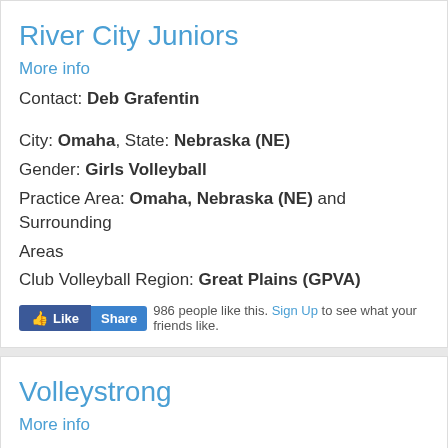River City Juniors
More info
Contact: Deb Grafentin
City: Omaha, State: Nebraska (NE)
Gender: Girls Volleyball
Practice Area: Omaha, Nebraska (NE) and Surrounding Areas
Club Volleyball Region: Great Plains (GPVA)
986 people like this. Sign Up to see what your friends like.
Volleystrong
More info
Contact: Mark Kirlin
City: Omaha, State: Nebraska (NE)